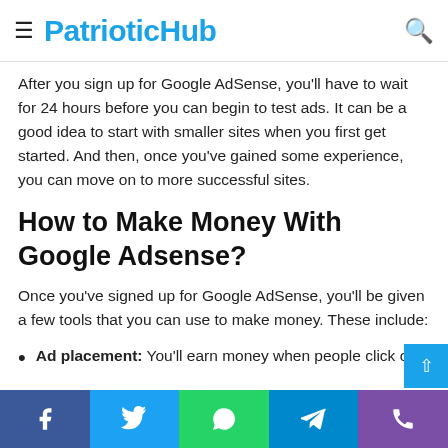PatrioticHub
After you sign up for Google AdSense, you'll have to wait for 24 hours before you can begin to test ads. It can be a good idea to start with smaller sites when you first get started. And then, once you've gained some experience, you can move on to more successful sites.
How to Make Money With Google Adsense?
Once you've signed up for Google AdSense, you'll be given a few tools that you can use to make money. These include:
Ad placement: You'll earn money when people click o…
Social share bar: Facebook, Twitter, WhatsApp, Telegram, Phone